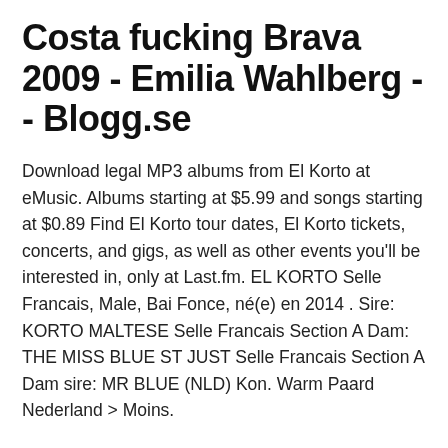Costa fucking Brava 2009 - Emilia Wahlberg - - Blogg.se
Download legal MP3 albums from El Korto at eMusic. Albums starting at $5.99 and songs starting at $0.89 Find El Korto tour dates, El Korto tickets, concerts, and gigs, as well as other events you'll be interested in, only at Last.fm. EL KORTO Selle Francais, Male, Bai Fonce, né(e) en 2014 . Sire: KORTO MALTESE Selle Francais Section A Dam: THE MISS BLUE ST JUST Selle Francais Section A Dam sire: MR BLUE (NLD) Kon. Warm Paard Nederland > Moins.